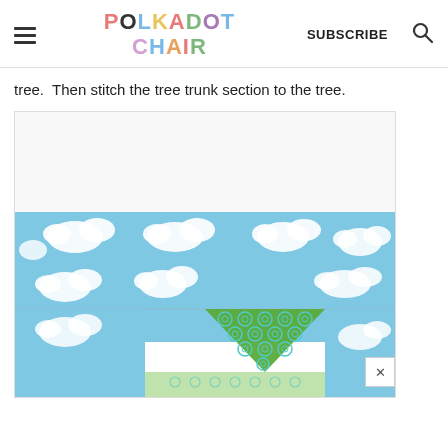POLKADOT CHAIR — SUBSCRIBE — Search
tree.  Then stitch the tree trunk section to the tree.
[Figure (photo): A quilt block in progress showing blue sky fabric with white cloud print, and a green polka-dot triangle (tree top) pieced in the center-lower area, on a white background.]